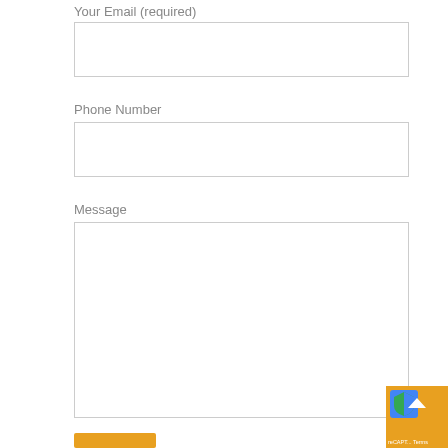Your Email (required)
[Figure (screenshot): Empty email input field with light gray border]
Phone Number
[Figure (screenshot): Empty phone number input field with light gray border]
Message
[Figure (screenshot): Empty message textarea with light gray border and resize handle]
[Figure (other): reCAPTCHA badge and scroll-to-top button in bottom right corner]
[Figure (other): Partially visible orange submit button at bottom left]